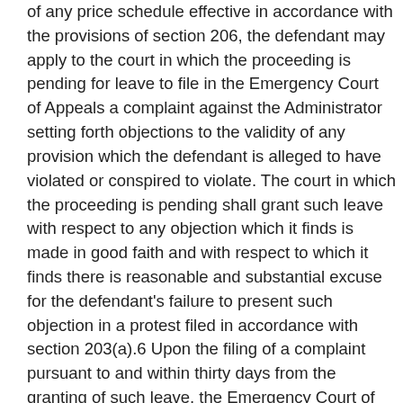of any price schedule effective in accordance with the provisions of section 206, the defendant may apply to the court in which the proceeding is pending for leave to file in the Emergency Court of Appeals a complaint against the Administrator setting forth objections to the validity of any provision which the defendant is alleged to have violated or conspired to violate. The court in which the proceeding is pending shall grant such leave with respect to any objection which it finds is made in good faith and with respect to which it finds there is reasonable and substantial excuse for the defendant's failure to present such objection in a protest filed in accordance with section 203(a).6 Upon the filing of a complaint pursuant to and within thirty days from the granting of such leave, the Emergency Court of Appeals shall have jurisdiction to enjoin or set aside in whole or in part the provision of the regulation, order, or price schedule complained of or to dismiss the complaint. * * *'